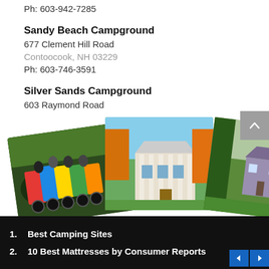Ph: 603-942-7285
Sandy Beach Campground
677 Clement Hill Road
Contoocook, NH 03229
Ph: 603-746-3591
Silver Sands Campground
603 Raymond Road
Chester, NH 03036
Ph: 603-887-3638
[Figure (photo): Three overlapping photos: motorcycles racing, a white colonial house with columns in autumn foliage, and a cottage on a tree-lined path]
1. Best Camping Sites
2. 10 Best Mattresses by Consumer Reports